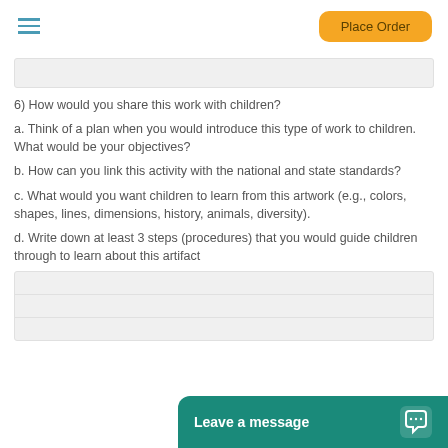Place Order
6) How would you share this work with children?
a. Think of a plan when you would introduce this type of work to children. What would be your objectives?
b. How can you link this activity with the national and state standards?
c. What would you want children to learn from this artwork (e.g., colors, shapes, lines, dimensions, history, animals, diversity).
d. Write down at least 3 steps (procedures) that you would guide children through to learn about this artifact
Leave a message